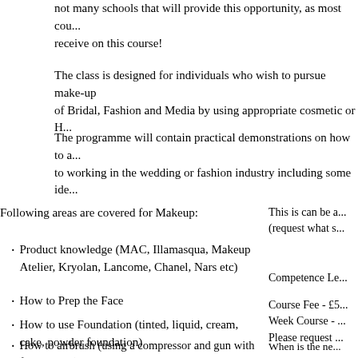not many schools that will provide this opportunity, as most cou... receive on this course!
The class is designed for individuals who wish to pursue make-up of Bridal, Fashion and Media by using appropriate cosmetic or H...
The programme will contain practical demonstrations on how to a... to working in the wedding or fashion industry including some ide...
Following areas are covered for Makeup:
This is can be a... (request what s...
Product knowledge (MAC, Illamasqua, Makeup Atelier, Kryolan, Lancome, Chanel, Nars etc)
Competence Le...
How to Prep the Face
Course Fee - £5... Week Course - ... Please request ...
How to use Foundation (tinted, liquid, cream, cake, powder foundation)
How to airbrush (using a compressor and gun with foundations)
When is the ne... Please request o...